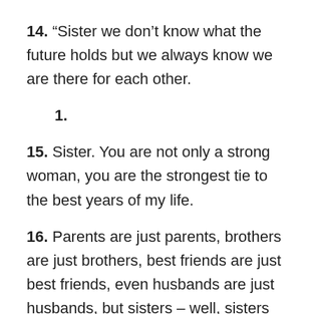14. “Sister we don’t know what the future holds but we always know we are there for each other.
1.
15. Sister. You are not only a strong woman, you are the strongest tie to the best years of my life.
16. Parents are just parents, brothers are just brothers, best friends are just best friends, even husbands are just husbands, but sisters – well, sisters are the ones to whom sisters always